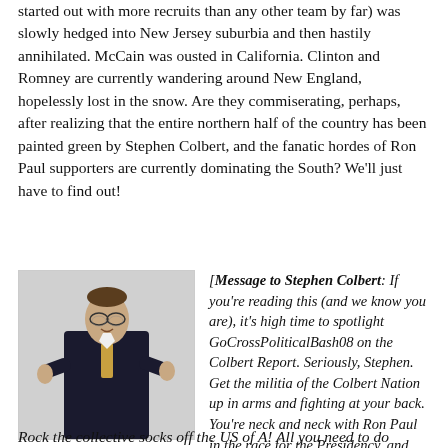started out with more recruits than any other team by far) was slowly hedged into New Jersey suburbia and then hastily annihilated. McCain was ousted in California. Clinton and Romney are currently wandering around New England, hopelessly lost in the snow. Are they commiserating, perhaps, after realizing that the entire northern half of the country has been painted green by Stephen Colbert, and the fanatic hordes of Ron Paul supporters are currently dominating the South? We'll just have to find out!
[Figure (photo): Photo of Stephen Colbert in a dark suit giving two thumbs up]
[Message to Stephen Colbert: If you're reading this (and we know you are), it's high time to spotlight GoCrossPoliticalBash08 on the Colbert Report. Seriously, Stephen. Get the militia of the Colbert Nation up in arms and fighting at your back. You're neck and neck with Ron Paul in the race for the Presidency, and that's simply egregious. Time to step it up, man! Clench this victory!
Rock the collective socks off the US of A! All you need to do